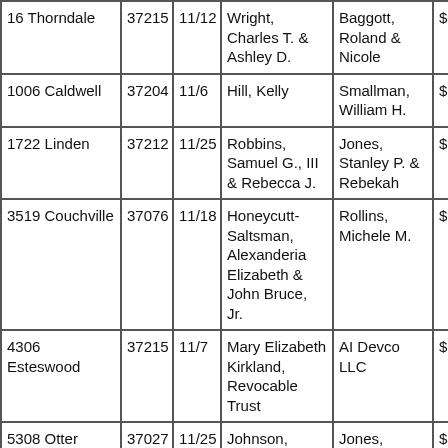| 16 Thorndale | 37215 | 11/12 | Wright, Charles T. & Ashley D. | Baggott, Roland & Nicole | $6 |
| 1006 Caldwell | 37204 | 11/6 | Hill, Kelly | Smallman, William H. | $6 |
| 1722 Linden | 37212 | 11/25 | Robbins, Samuel G., III & Rebecca J. | Jones, Stanley P. & Rebekah | $6 |
| 3519 Couchville | 37076 | 11/18 | Honeycutt-Saltsman, Alexanderia Elizabeth & John Bruce, Jr. | Rollins, Michele M. | $6 |
| 4306 Esteswood | 37215 | 11/7 | Mary Elizabeth Kirkland, Revocable Trust | AI Devco LLC | $6 |
| 5308 Otter Creek | 37027 | 11/25 | Johnson, Robert N. & Cindy T. | Jones, William D., Jr. & Merrily M. | $6 |
|  |  |  | Williams… |  |  |